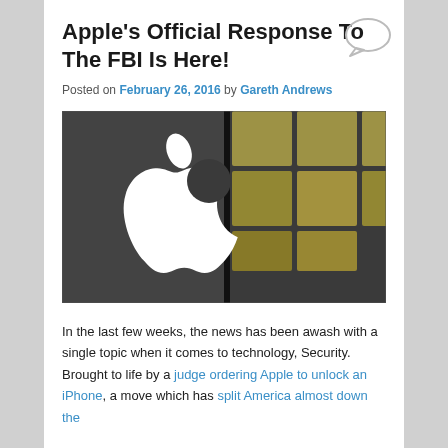Apple's Official Response To The FBI Is Here!
Posted on February 26, 2016 by Gareth Andrews
[Figure (photo): Apple logo on a dark storefront window with glass and geometric ceiling tiles visible in the background]
In the last few weeks, the news has been awash with a single topic when it comes to technology, Security. Brought to life by a judge ordering Apple to unlock an iPhone, a move which has split America almost down the